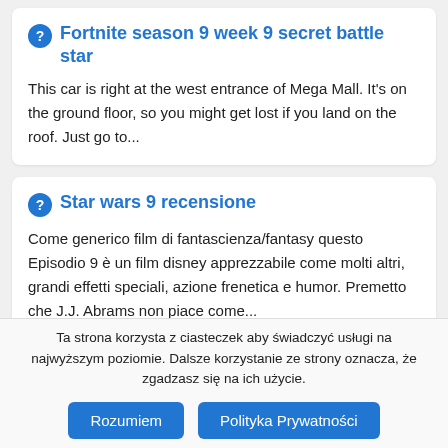Fortnite season 9 week 9 secret battle star
This car is right at the west entrance of Mega Mall. It's on the ground floor, so you might get lost if you land on the roof. Just go to...
Star wars 9 recensione
Come generico film di fantascienza/fantasy questo Episodio 9 è un film disney apprezzabile come molti altri, grandi effetti speciali, azione frenetica e humor. Premetto che J.J. Abrams non piace come...
Ta strona korzysta z ciasteczek aby świadczyć usługi na najwyższym poziomie. Dalsze korzystanie ze strony oznacza, że zgadzasz się na ich użycie.